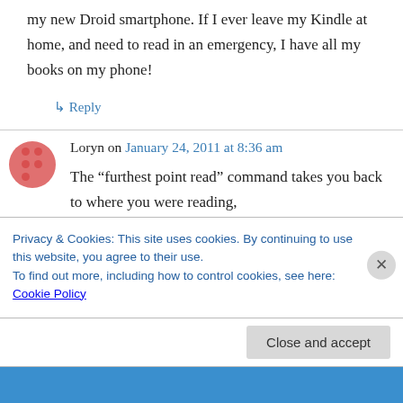my new Droid smartphone. If I ever leave my Kindle at home, and need to read in an emergency, I have all my books on my phone!
↳ Reply
Loryn on January 24, 2011 at 8:36 am
The “furthest point read” command takes you back to where you were reading,
↳ Reply
Privacy & Cookies: This site uses cookies. By continuing to use this website, you agree to their use.
To find out more, including how to control cookies, see here: Cookie Policy
Close and accept